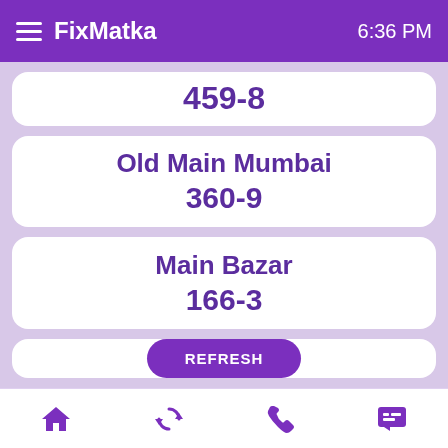FixMatka  6:36 PM
459-8
Old Main Mumbai
360-9
Main Bazar
166-3
REFRESH